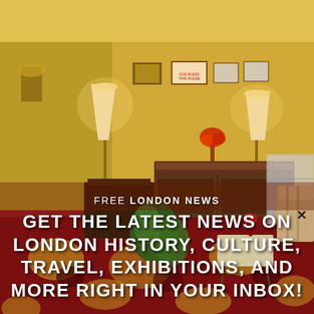[Figure (photo): Vintage 1960s-70s British living room with yellow wallpaper, patterned carpet in red and gold floral design, brown furniture sideboard, display cabinet, sofa, table lamps, houseplants, and framed pictures on the wall including a 'God Bless This House' sign.]
FREE LONDON NEWS
GET THE LATEST NEWS ON LONDON HISTORY, CULTURE, TRAVEL, EXHIBITIONS, AND MORE RIGHT IN YOUR INBOX!